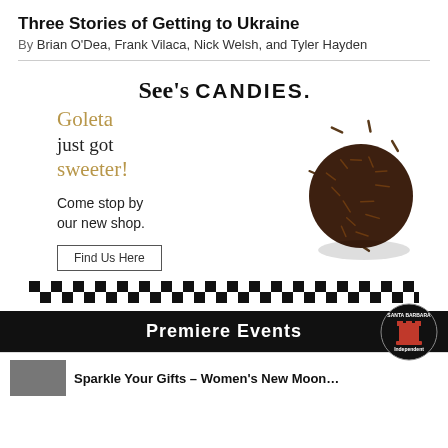Three Stories of Getting to Ukraine
By Brian O'Dea, Frank Vilaca, Nick Welsh, and Tyler Hayden
[Figure (infographic): See's Candies advertisement. Logo reads 'See's CANDIES.' with text 'Goleta just got sweeter! Come stop by our new shop.' and a 'Find Us Here' button. A chocolate truffle covered in chocolate sprinkles is shown on the right. A checkered bar decorates the bottom of the ad.]
[Figure (logo): Santa Barbara Independent circular logo with red chess piece (rook) on black background]
Premiere Events
Sparkle Your Gifts – Women's New Moon…